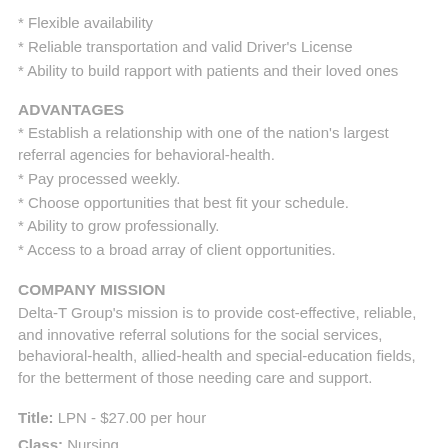* Flexible availability
* Reliable transportation and valid Driver's License
* Ability to build rapport with patients and their loved ones
ADVANTAGES
* Establish a relationship with one of the nation's largest referral agencies for behavioral-health.
* Pay processed weekly.
* Choose opportunities that best fit your schedule.
* Ability to grow professionally.
* Access to a broad array of client opportunities.
COMPANY MISSION
Delta-T Group's mission is to provide cost-effective, reliable, and innovative referral solutions for the social services, behavioral-health, allied-health and special-education fields, for the betterment of those needing care and support.
Title: LPN - $27.00 per hour
Class: Nursing